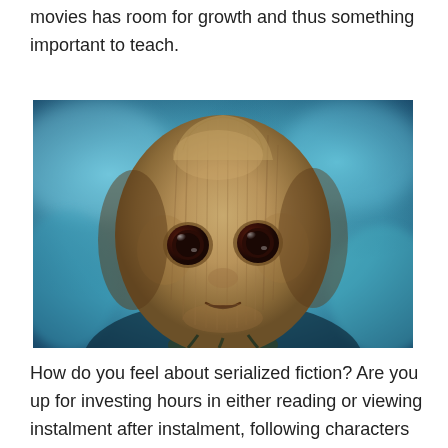movies has room for growth and thus something important to teach.
[Figure (photo): Close-up of Baby Groot from Guardians of the Galaxy, a tree-like creature with large dark brown eyes, a wood-textured face, small mouth, against a blurred blue background.]
How do you feel about serialized fiction? Are you up for investing hours in either reading or viewing instalment after instalment, following characters new and old through the breadth and depth of their life experience? Let me know and tell me about your favourites.